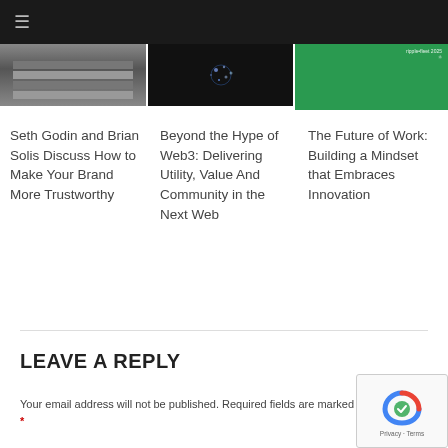≡
[Figure (photo): Three article thumbnail images in a row: metallic/steel texture, dark background with glowing particles, green background with person]
Seth Godin and Brian Solis Discuss How to Make Your Brand More Trustworthy
Beyond the Hype of Web3: Delivering Utility, Value And Community in the Next Web
The Future of Work: Building a Mindset that Embraces Innovation
LEAVE A REPLY
Your email address will not be published. Required fields are marked *